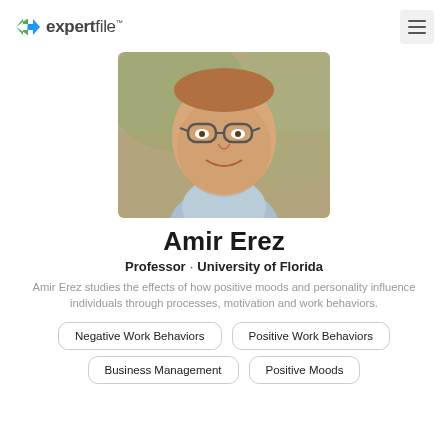expertfile
[Figure (photo): Headshot of Amir Erez, a middle-aged man with glasses, smiling, wearing a light blue shirt, with a blurred outdoor background.]
Amir Erez
Professor · University of Florida
Amir Erez studies the effects of how positive moods and personality influence individuals through processes, motivation and work behaviors.
Negative Work Behaviors
Positive Work Behaviors
Business Management
Positive Moods